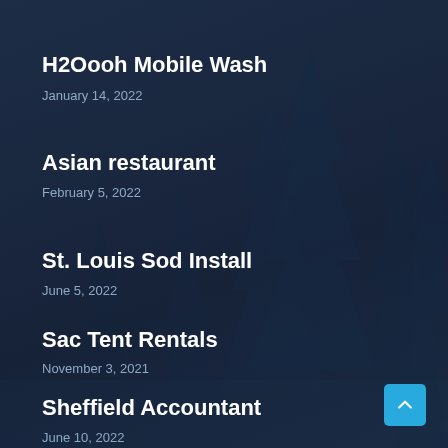[Figure (illustration): Dark navy blue background with pine tree silhouettes in darker blue tones, creating a forested mountain atmosphere]
H2Oooh Mobile Wash
January 14, 2022
Asian restaurant
February 5, 2022
St. Louis Sod Install
June 5, 2022
Sac Tent Rentals
November 3, 2021
Sheffield Accountant
June 10, 2022